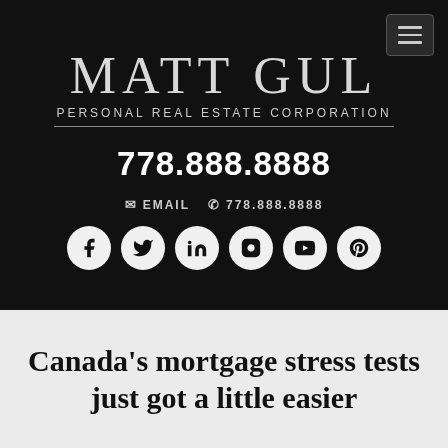[Figure (logo): Matt Gul Personal Real Estate Corporation logo with name in large serif font and tagline below a horizontal rule]
778.888.8888
EMAIL  778.888.8888
[Figure (infographic): Six social media icons (Facebook, Twitter, LinkedIn, Instagram, YouTube, Pinterest) as white circles on dark background]
Canada's mortgage stress tests just got a little easier